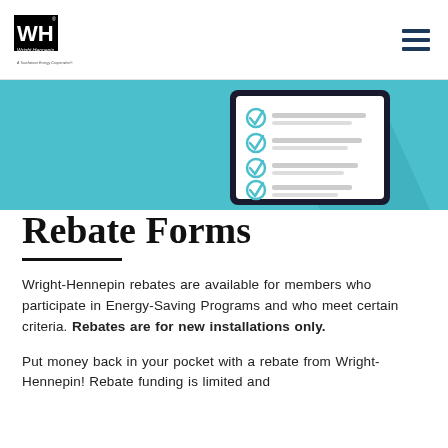Wright-Hennepin Cooperative Electric Association — A Touchstone Energy Cooperative
[Figure (illustration): Teal banner with an illustration of a tablet/clipboard showing a checklist with four teal checkmark icons and gray horizontal lines representing text items, with a gray shadow behind the device]
Rebate Forms
Wright-Hennepin rebates are available for members who participate in Energy-Saving Programs and who meet certain criteria. Rebates are for new installations only.
Put money back in your pocket with a rebate from Wright-Hennepin! Rebate funding is limited and